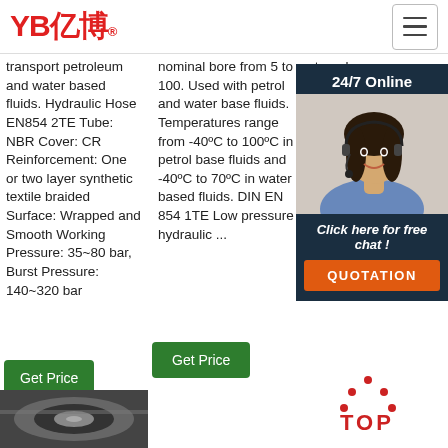[Figure (logo): YB亿博 company logo in red with registered trademark symbol]
[Figure (illustration): Hamburger menu icon (three horizontal lines) in a bordered square button]
transport petroleum and water based fluids. Hydraulic Hose EN854 2TE Tube: NBR Cover: CR Reinforcement: One or two layer synthetic textile braided Surface: Wrapped and Smooth Working Pressure: 35~80 bar, Burst Pressure: 140~320 bar
nominal bore from 5 to 100. Used with petrol and water base fluids. Temperatures range from -40ºC to 100ºC in petrol base fluids and -40ºC to 70ºC in water based fluids. DIN EN 854 1TE Low pressure hydraulic ...
strongly recommended for hydraulic general systems, high pressure rubber than
[Figure (photo): 24/7 Online chat widget with woman wearing headset, 'Click here for free chat!' text, and QUOTATION button]
Get Price
Get Price
[Figure (illustration): TOP navigation button with red dots forming a triangle above 'TOP' text in red]
[Figure (photo): Bottom partial image of industrial product/hose]